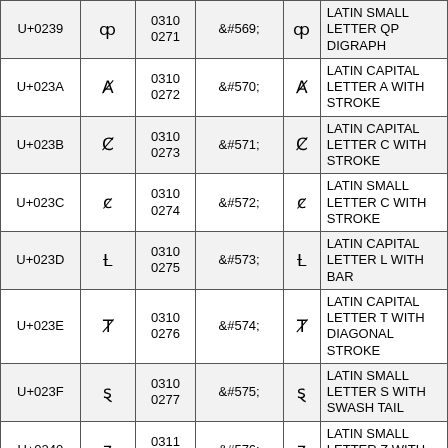| Code | Char | Oct | HTML | Char | Name |
| --- | --- | --- | --- | --- | --- |
| U+0239 | ȹ | 0310 0271 | &#569; | ȹ | LATIN SMALL LETTER QP DIGRAPH |
| U+023A | Ⱥ | 0310 0272 | &#570; | Ⱥ | LATIN CAPITAL LETTER A WITH STROKE |
| U+023B | Ȼ | 0310 0273 | &#571; | Ȼ | LATIN CAPITAL LETTER C WITH STROKE |
| U+023C | ȼ | 0310 0274 | &#572; | ȼ | LATIN SMALL LETTER C WITH STROKE |
| U+023D | Ƚ | 0310 0275 | &#573; | Ƚ | LATIN CAPITAL LETTER L WITH BAR |
| U+023E | Ⱦ | 0310 0276 | &#574; | Ⱦ | LATIN CAPITAL LETTER T WITH DIAGONAL STROKE |
| U+023F | ȿ | 0310 0277 | &#575; | ȿ | LATIN SMALL LETTER S WITH SWASH TAIL |
| U+0240 | ɀ | 0311 0200 | &#576; | ɀ | LATIN SMALL LETTER Z WITH SWASH TAIL |